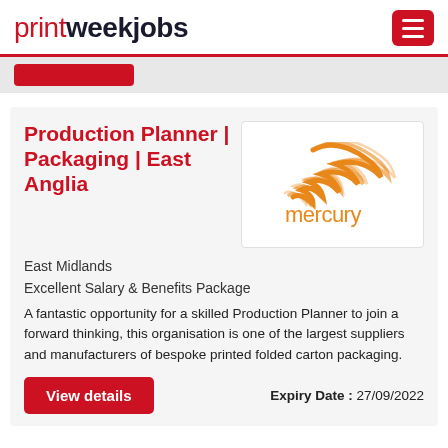printweekjobs
[Figure (logo): Mercury company logo — orange swoosh/feather graphic above the word 'mercury' in orange lowercase text]
Production Planner | Packaging | East Anglia
East Midlands
Excellent Salary & Benefits Package
A fantastic opportunity for a skilled Production Planner to join a forward thinking, this organisation is one of the largest suppliers and manufacturers of bespoke printed folded carton packaging.
Expiry Date : 27/09/2022